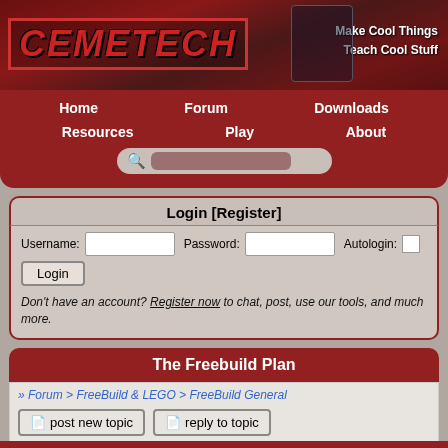[Figure (screenshot): Cemetech website banner with logo, calculator image, LEGO knight figure, and tagline 'Make Cool Things Teach Cool Stuff']
Home | Forum | Downloads | Resources | Play | About
Login [Register]
Username: [field] Password: [field] Autologin: [checkbox]
Don't have an account? Register now to chat, post, use our tools, and much more.
The Freebuild Plan
» Forum > FreeBuild & LEGO > FreeBuild General
post new topic | reply to topic
» Goto page 1, 2, 3 Next
» View previous topic :: View next topic